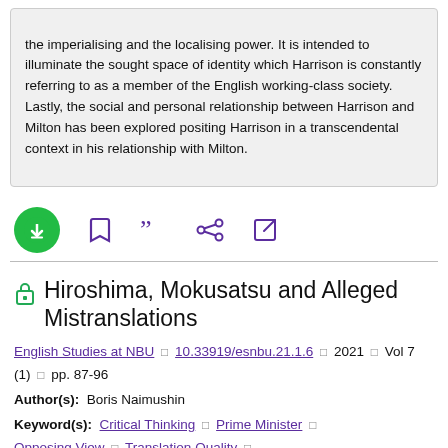the imperialising and the localising power. It is intended to illuminate the sought space of identity which Harrison is constantly referring to as a member of the English working-class society. Lastly, the social and personal relationship between Harrison and Milton has been explored positing Harrison in a transcendental context in his relationship with Milton.
[Figure (other): Action bar with download (green circle arrow-down), bookmark, cite (quotation marks), share, and external link icons in purple]
Hiroshima, Mokusatsu and Alleged Mistranslations
English Studies at NBU □ 10.33919/esnbu.21.1.6 □ 2021 □ Vol 7 (1) □ pp. 87-96
Author(s): Boris Naimushin
Keyword(s): Critical Thinking □ Prime Minister □ Opposing View □ Translation Quality □